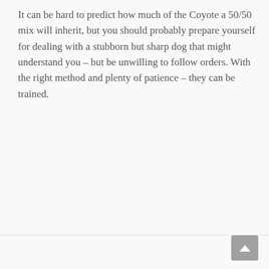It can be hard to predict how much of the Coyote a 50/50 mix will inherit, but you should probably prepare yourself for dealing with a stubborn but sharp dog that might understand you – but be unwilling to follow orders. With the right method and plenty of patience – they can be trained.